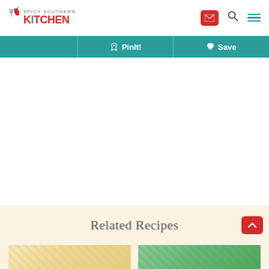Spicy Southern Kitchen
PinIt! Save
[Figure (screenshot): White blank content area]
Related Recipes
[Figure (photo): Two recipe thumbnail images at the bottom of the page]